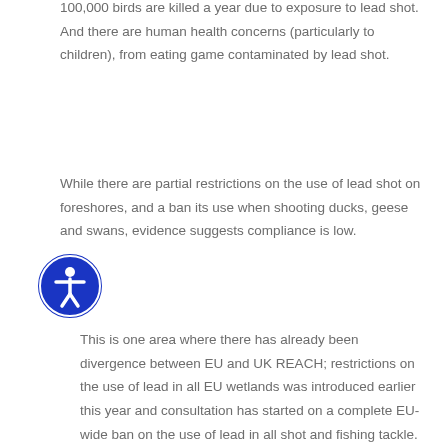100,000 birds are killed a year due to exposure to lead shot. And there are human health concerns (particularly to children), from eating game contaminated by lead shot.
While there are partial restrictions on the use of lead shot on foreshores, and a ban its use when shooting ducks, geese and swans, evidence suggests compliance is low.
This is one area where there has already been divergence between EU and UK REACH; restrictions on the use of lead in all EU wetlands was introduced earlier this year and consultation has started on a complete EU-wide ban on the use of lead in all shot and fishing tackle.